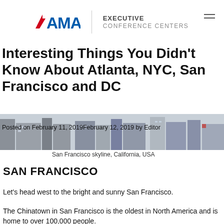[Figure (logo): AMA Executive Conference Centers logo with red triangle and blue AMA text, vertical divider, and EXECUTIVE CONFERENCE CENTERS text]
Interesting Things You Didn't Know About Atlanta, NYC, San Francisco and DC
[Figure (photo): San Francisco skyline, California, USA — aerial view of city buildings]
Posted on February 11, 2019February 12, 2019 by Editor
San Francisco skyline, California, USA
SAN FRANCISCO
Let's head west to the bright and sunny San Francisco.
The Chinatown in San Francisco is the oldest in North America and is home to over 100,000 people.